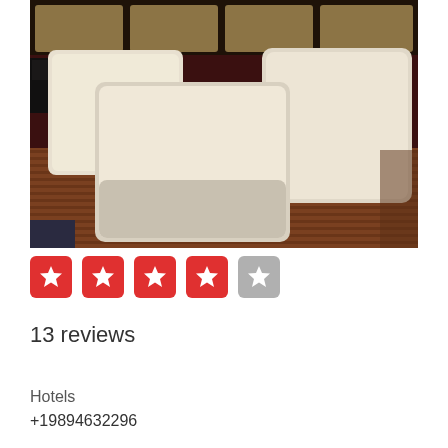[Figure (photo): Hotel room bed with three white pillows against a brown leather tufted headboard, brown ribbed bedspread, dark background]
[Figure (other): 4-star rating shown as four filled red star boxes and one empty grey star box]
13 reviews
Hotels
+19894632296